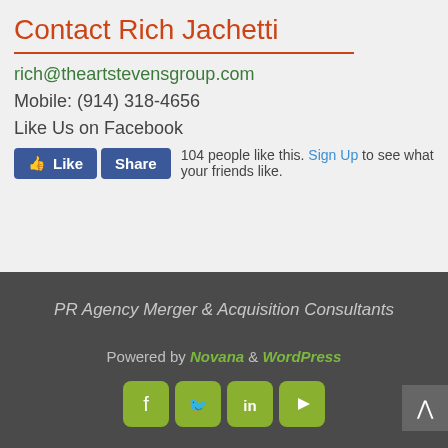Contact Rich Jachetti
rich@theartstevensgroup.com
Mobile: (914) 318-4656
Like Us on Facebook
[Figure (screenshot): Facebook Like and Share buttons with text '104 people like this. Sign Up to see what your friends like.']
PR Agency Merger & Acquisition Consultants
Powered by Novana & WordPress
[Figure (infographic): Social media icons: Facebook, Twitter, LinkedIn, YouTube in olive/green rounded square buttons]